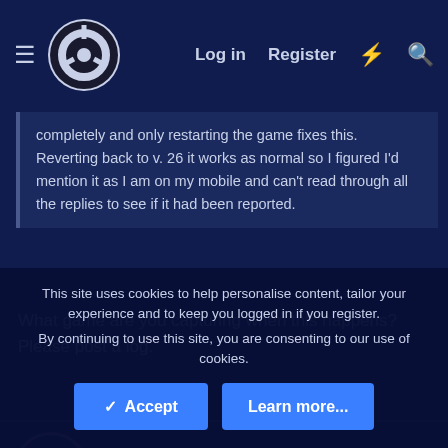[Figure (screenshot): OBS Studio website navigation bar with hamburger menu, OBS logo, Log in, Register links, and search/notification icons]
completely and only restarting the game fixes this. Reverting back to v. 26 it works as normal so I figured I'd mention it as I am on my mobile and can't read through all the replies to see if it had been reported.
What game are you capturing when this happens? Please post a log.
3lementFisher
New Member
This site uses cookies to help personalise content, tailor your experience and to keep you logged in if you register.
By continuing to use this site, you are consenting to our use of cookies.